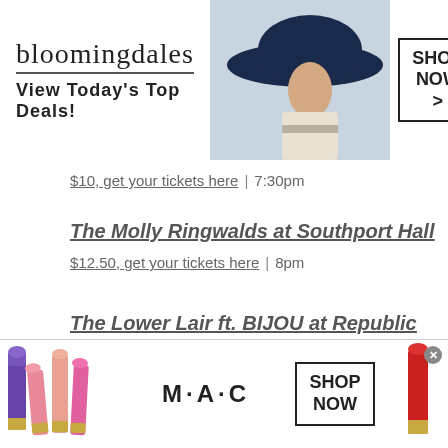[Figure (other): Bloomingdales advertisement banner with logo, 'View Today's Top Deals!' tagline, woman in large hat photo, and 'SHOP NOW >' button]
$10, get your tickets here | 7:30pm
The Molly Ringwalds at Southport Hall
$12.50, get your tickets here | 8pm
The Lower Lair ft. BIJOU at Republic NOLA
We use cookies on our website to give you the most relevant experience by remembering your preferences and repeat visits. By clicking "Accept All", you consent to the use of ALL
[Figure (other): MAC cosmetics advertisement banner with lipsticks, MAC logo, and 'SHOP NOW' button]